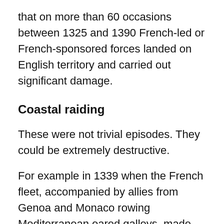that on more than 60 occasions between 1325 and 1390 French-led or French-sponsored forces landed on English territory and carried out significant damage.
Coastal raiding
These were not trivial episodes. They could be extremely destructive.
For example in 1339 when the French fleet, accompanied by allies from Genoa and Monaco rowing Mediterranean oared galleys, made their way up the Solent, and landed in Southampton, they killed civilians, and looted the entire city taking away valuable goods such as wine and wool from the